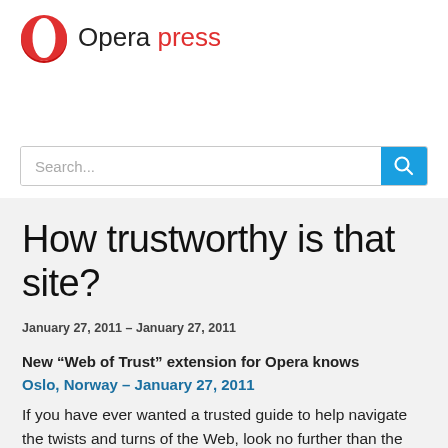[Figure (logo): Opera press logo: red Opera 'O' circle icon followed by 'Opera' in dark text and 'press' in red text]
[Figure (other): Search input bar with placeholder 'Search...' and a blue search button with magnifying glass icon]
How trustworthy is that site?
January 27, 2011 - January 27, 2011
New “Web of Trust” extension for Opera knows
Oslo, Norway – January 27, 2011
If you have ever wanted a trusted guide to help navigate the twists and turns of the Web, look no further than the Web of Trust (WOT) extension. WOT is an extension available for Opera 11, the newest browser